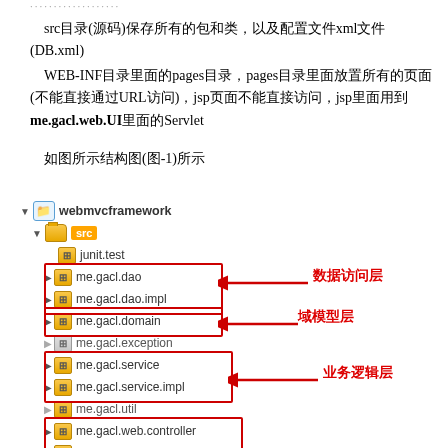src目录(源码)保存所有的包和类，以及配置文件xml文件(DB.xml)
WEB-INF目录里面的pages目录，pages目录里面放置所有的页面(不能直接通过URL访问)，jsp页面不能直接访问，jsp里面用到me.gacl.web.UI里面的Servlet
如图所示结构图(图-1)所示
[Figure (screenshot): Project tree diagram showing webmvcframework project structure with src folder containing packages: junit.test, me.gacl.dao (数据访问层), me.gacl.dao.impl, me.gacl.domain (域模型层), me.gacl.exception, me.gacl.service (业务逻辑层), me.gacl.service.impl, me.gacl.util, me.gacl.web.controller, me.gacl.web.filter with red box annotations]